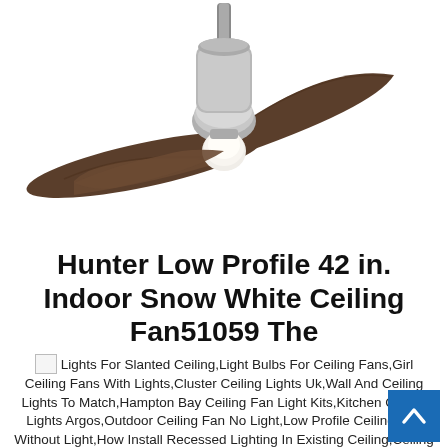[Figure (photo): A ceiling fan with two curved dark brown/espresso blades and a brushed nickel motor housing with a white globe light kit, shown against a white background.]
Hunter Low Profile 42 in. Indoor Snow White Ceiling Fan51059 The
Lights For Slanted Ceiling,Light Bulbs For Ceiling Fans,Girl Ceiling Fans With Lights,Cluster Ceiling Lights Uk,Wall And Ceiling Lights To Match,Hampton Bay Ceiling Fan Light Kits,Kitchen Ceiling Lights Argos,Outdoor Ceiling Fan No Light,Low Profile Ceiling Fan Without Light,How Install Recessed Lighting In Existing Ceiling,Ceiling Fa...